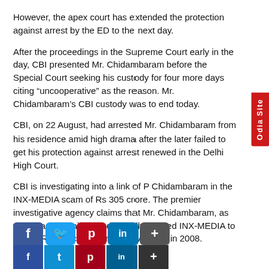However, the apex court has extended the protection against arrest by the ED to the next day.
After the proceedings in the Supreme Court early in the day, CBI presented Mr. Chidambaram before the Special Court seeking his custody for four more days citing “uncooperative” as the reason. Mr. Chidambaram’s CBI custody was to end today.
CBI, on 22 August, had arrested Mr. Chidambaram from his residence amid high drama after the later failed to get his protection against arrest renewed in the Delhi High Court.
CBI is investigating into a link of P Chidambaram in the INX-MEDIA scam of Rs 305 crore. The premier investigative agency claims that Mr. Chidambaram, as the Finance Minister had illegally favored INX-MEDIA to collect Rs 305 crore from the overseas in 2008.
[Figure (infographic): Social media sharing icons: Facebook, Twitter, Pinterest, LinkedIn, and a plus/more button, shown in two rows]